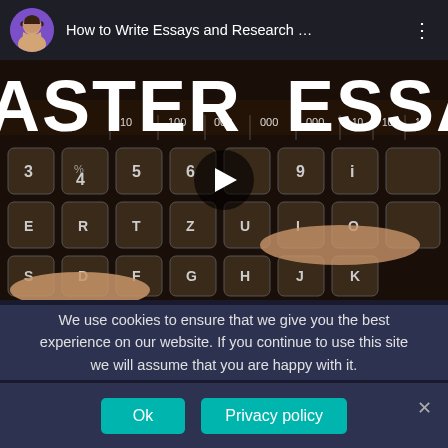[Figure (screenshot): YouTube-style video player showing a video titled 'How to Write Essays and Research ...' with a thumbnail of hands typing on a vintage typewriter keyboard, displaying large white text 'ASTER ESSAY' across the frame, with a play button overlay. The video header shows a circular avatar of a man and the video title with a vertical dots menu icon.]
We use cookies to ensure that we give you the best experience on our website. If you continue to use this site we will assume that you are happy with it.
Ok
Privacy policy